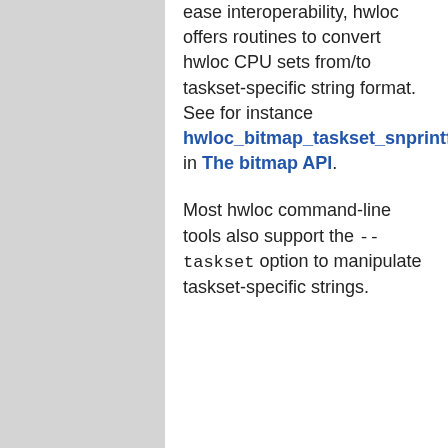ease interoperability, hwloc offers routines to convert hwloc CPU sets from/to taskset-specific string format. See for instance hwloc_bitmap_taskset_snprintf() in The bitmap API.
Most hwloc command-line tools also support the --taskset option to manipulate taskset-specific strings.
[Figure (logo): SPI (Software in the Public Interest) logo — letters SPI in blue and green gradient with swoosh design]
Open MPI is an Associated Project of the Software in the Public Interest non-profit
Contact the Open MPI webmaster
Page last modified: Mar-20 ©2004-2022 The Open MPI Project